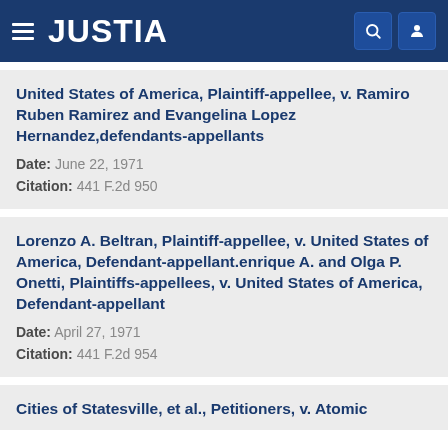JUSTIA
United States of America, Plaintiff-appellee, v. Ramiro Ruben Ramirez and Evangelina Lopez Hernandez,defendants-appellants
Date: June 22, 1971
Citation: 441 F.2d 950
Lorenzo A. Beltran, Plaintiff-appellee, v. United States of America, Defendant-appellant.enrique A. and Olga P. Onetti, Plaintiffs-appellees, v. United States of America, Defendant-appellant
Date: April 27, 1971
Citation: 441 F.2d 954
Cities of Statesville, et al., Petitioners, v. Atomic